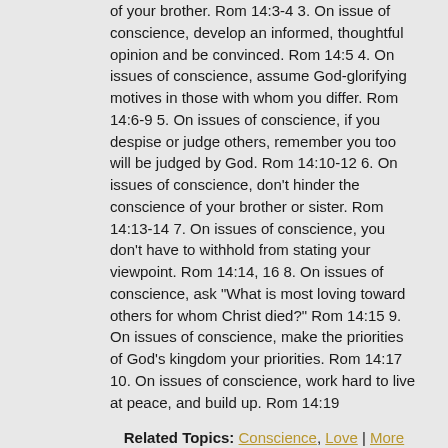of your brother. Rom 14:3-4 3. On issue of conscience, develop an informed, thoughtful opinion and be convinced. Rom 14:5 4. On issues of conscience, assume God-glorifying motives in those with whom you differ. Rom 14:6-9 5. On issues of conscience, if you despise or judge others, remember you too will be judged by God. Rom 14:10-12 6. On issues of conscience, don't hinder the conscience of your brother or sister. Rom 14:13-14 7. On issues of conscience, you don't have to withhold from stating your viewpoint. Rom 14:14, 16 8. On issues of conscience, ask "What is most loving toward others for whom Christ died?" Rom 14:15 9. On issues of conscience, make the priorities of God's kingdom your priorities. Rom 14:17 10. On issues of conscience, work hard to live at peace, and build up. Rom 14:19
Related Topics: Conscience, Love | More Messages from Samuel Andres | Download Audio
From Series: "KCC Standalone